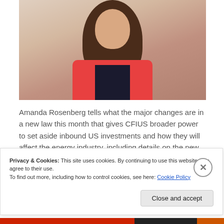[Figure (photo): Professional headshot of Amanda Rosenberg, a woman with long brown hair wearing a red/coral blazer over a dark shirt, photographed against a light neutral background.]
Amanda Rosenberg tells what the major changes are in a new law this month that gives CFIUS broader power to set aside inbound US investments and how they will affect the energy industry, including details on the new review authority, changes to process, mandatory declarations and when everything takes effect.
Continue reading →
Privacy & Cookies: This site uses cookies. By continuing to use this website, you agree to their use.
To find out more, including how to control cookies, see here: Cookie Policy
Close and accept